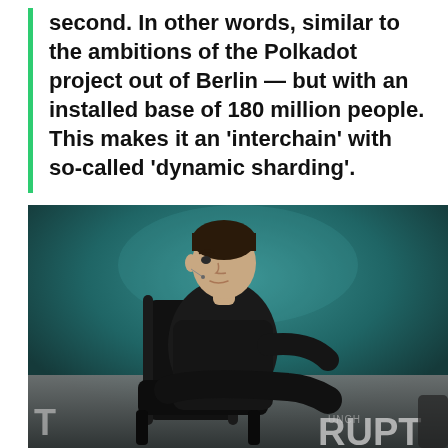second. In other words, similar to the ambitions of the Polkadot project out of Berlin — but with an installed base of 180 million people. This makes it an 'interchain' with so-called 'dynamic sharding'.
[Figure (photo): A man in a black turtleneck jacket sitting in a black chair on a stage, with a teal/dark background and partial text 'RUPT' visible on the right, at what appears to be a TechCrunch Disrupt conference.]